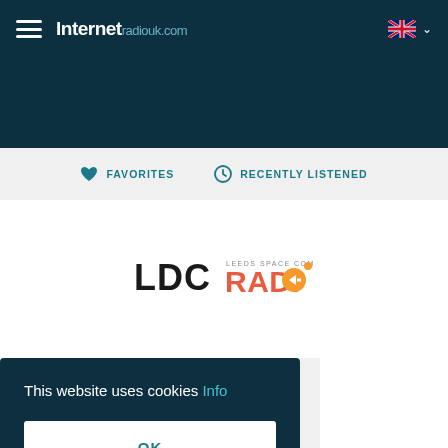Internet radiouk.com
FAVORITES   RECENTLY LISTENED
[Figure (logo): LDC Radio logo with orange circle and arrow graphic]
This website uses cookies Info
OK